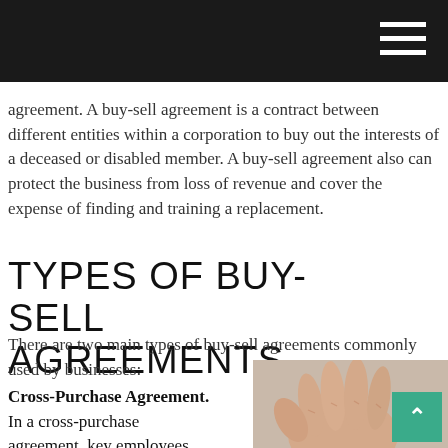agreement. A buy-sell agreement is a contract between different entities within a corporation to buy out the interests of a deceased or disabled member. A buy-sell agreement also can protect the business from loss of revenue and cover the expense of finding and training a replacement.
TYPES OF BUY-SELL AGREEMENTS
There are two main types of buy-sell agreements commonly used by businesses:
Cross-Purchase Agreement. In a cross-purchase agreement, key employees have the opportunity to buy
[Figure (photo): Hand holding a document or pen, with a green scroll-to-top button in the bottom right corner]